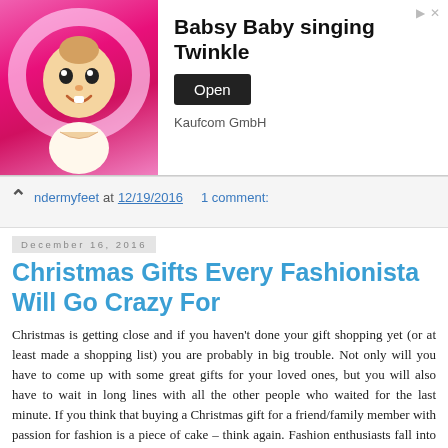[Figure (screenshot): Advertisement banner for Babsy Baby singing Twinkle by Kaufcom GmbH, showing an animated baby character on a pink background with an Open button]
ndermyfeet at 12/19/2016   1 comment:
December 16, 2016
Christmas Gifts Every Fashionista Will Go Crazy For
Christmas is getting close and if you haven't done your gift shopping yet (or at least made a shopping list) you are probably in big trouble. Not only will you have to come up with some great gifts for your loved ones, but you will also have to wait in long lines with all the other people who waited for the last minute. If you think that buying a Christmas gift for a friend/family member with passion for fashion is a piece of cake – think again. Fashion enthusiasts fall into hard-to-please category, because you have to worry not only about their unique taste, but also about trends. Don't worry, we've